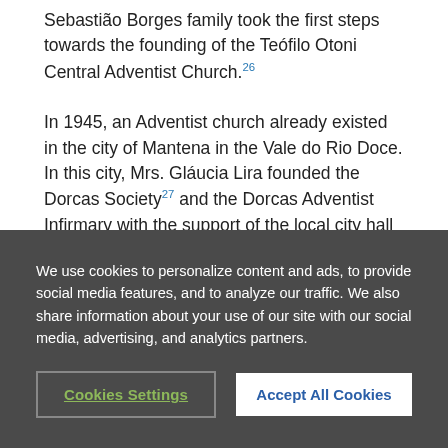Sebastião Borges family took the first steps towards the founding of the Teófilo Otoni Central Adventist Church.[26] In 1945, an Adventist church already existed in the city of Mantena in the Vale do Rio Doce. In this city, Mrs. Gláucia Lira founded the Dorcas Society[27] and the Dorcas Adventist Infirmary with the support of the local city hall and Brother José Secundino da Fonseca.[28] The work started by the Dorcas Society made it possible for the church of Mantena to be inaugurated on October 22, 1949, since until then, the members met in a commercial building owned by José Secundino.[29]
We use cookies to personalize content and ads, to provide social media features, and to analyze our traffic. We also share information about your use of our site with our social media, advertising, and analytics partners.